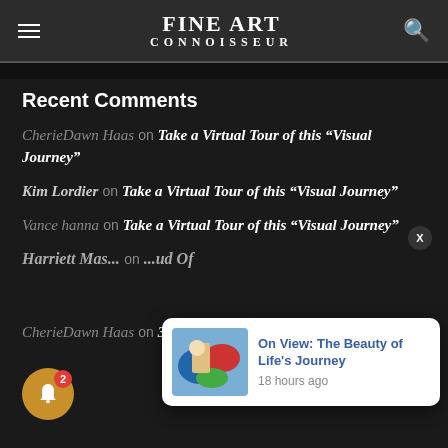FINE ART CONNOISSEUR
Recent Comments
CherieDawn Haas on Take a Virtual Tour of this “Visual Journey”
Kim Lordier on Take a Virtual Tour of this “Visual Journey”
Vance hanna on Take a Virtual Tour of this “Visual Journey”
Harriett Mas... on ...ud Of
CherieDawn Haas on 38th Annual Buffalo Bill Art Show
[Figure (screenshot): Notification popup showing article thumbnail and title 'On View: The Beauty of Life's Journey' posted 18 hours ago]